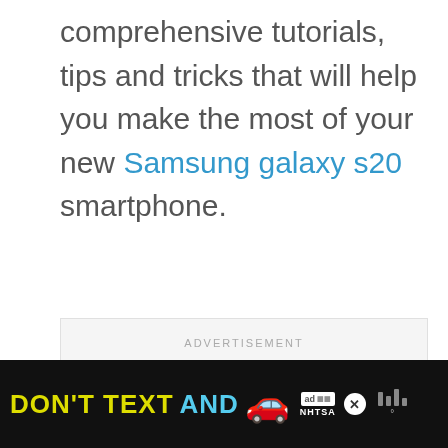comprehensive tutorials, tips and tricks that will help you make the most of your new Samsung galaxy s20 smartphone.
[Figure (other): Advertisement placeholder box with 'ADVERTISEMENT' label in light gray text on a light gray background]
[Figure (other): Bottom banner ad with black background showing 'DON'T TEXT AND' text (yellow and cyan), a red car emoji, an ad badge with NHTSA logo, a close/X button, and a weather widget icon]